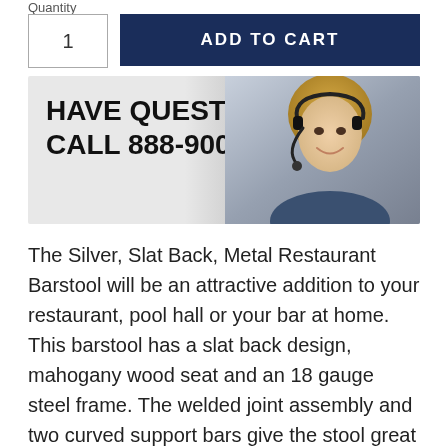Quantity
1
ADD TO CART
[Figure (photo): Banner with text 'HAVE QUESTIONS? CALL 888-900-7384' and image of a woman wearing a headset on a silver/grey gradient background]
The Silver, Slat Back, Metal Restaurant Barstool will be an attractive addition to your restaurant, pool hall or your bar at home. This barstool has a slat back design, mahogany wood seat and an 18 gauge steel frame. The welded joint assembly and two curved support bars give the stool great strength and stability. The lower support bar doubles as footrest. Plastic floor glides protect your floors by sliding smoothly